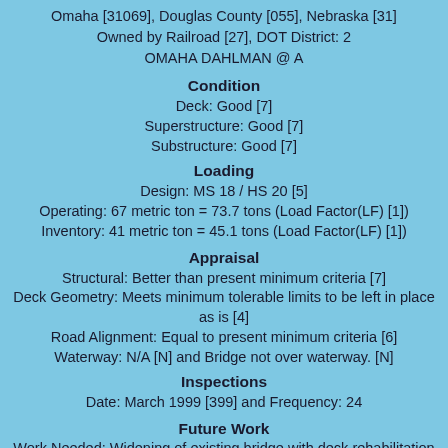Omaha [31069], Douglas County [055], Nebraska [31]
Owned by Railroad [27], DOT District: 2
OMAHA DAHLMAN @ A
Condition
Deck: Good [7]
Superstructure: Good [7]
Substructure: Good [7]
Loading
Design: MS 18 / HS 20 [5]
Operating: 67 metric ton = 73.7 tons (Load Factor(LF) [1])
Inventory: 41 metric ton = 45.1 tons (Load Factor(LF) [1])
Appraisal
Structural: Better than present minimum criteria [7]
Deck Geometry: Meets minimum tolerable limits to be left in place as is [4]
Road Alignment: Equal to present minimum criteria [6]
Waterway: N/A [N] and Bridge not over waterway. [N]
Inspections
Date: March 1999 [399] and Frequency: 24
Future Work
Work Needed: Widening of existing bridge with deck rehabilitation or replacement. [34]